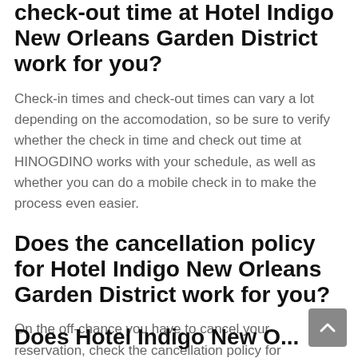check-out time at Hotel Indigo New Orleans Garden District work for you?
Check-in times and check-out times can vary a lot depending on the accomodation, so be sure to verify whether the check in time and check out time at HINOGDINO works with your schedule, as well as whether you can do a mobile check in to make the process even easier.
Does the cancellation policy for Hotel Indigo New Orleans Garden District work for you?
On the off-chance you have to cancel your reservation, check the cancellation policy for HINOGDINO so that you can avoid a cancellation fee on your credit card or debit card.
Does Hotel Indigo New Orleans...